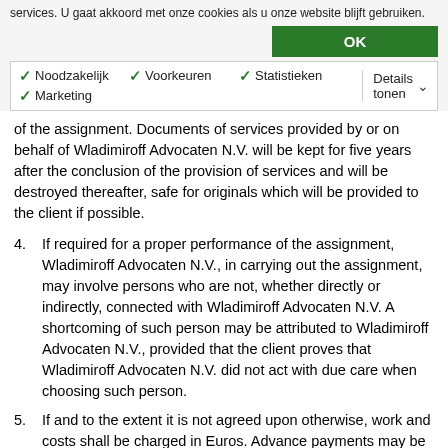services. U gaat akkoord met onze cookies als u onze website blijft gebruiken.
OK
✓ Noodzakelijk  ✓ Voorkeuren  ✓ Statistieken  ✓ Marketing  Details tonen
of the assignment. Documents of services provided by or on behalf of Wladimiroff Advocaten N.V. will be kept for five years after the conclusion of the provision of services and will be destroyed thereafter, safe for originals which will be provided to the client if possible.
4. If required for a proper performance of the assignment, Wladimiroff Advocaten N.V., in carrying out the assignment, may involve persons who are not, whether directly or indirectly, connected with Wladimiroff Advocaten N.V. A shortcoming of such person may be attributed to Wladimiroff Advocaten N.V., provided that the client proves that Wladimiroff Advocaten N.V. did not act with due care when choosing such person.
5. If and to the extent it is not agreed upon otherwise, work and costs shall be charged in Euros. Advance payments may be asked for work still to be